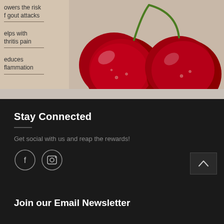[Figure (infographic): Partial infographic showing health benefits of cherries with text labels: 'lowers the risk of gout attacks', 'helps with arthritis pain', 'reduces inflammation', each with a horizontal underline. Right side shows a photo of two red cherries with stems.]
owers the risk
f gout attacks
elps with
thritis pain
educes
flammation
Stay Connected
Get social with us and reap the rewards!
Join our Email Newsletter